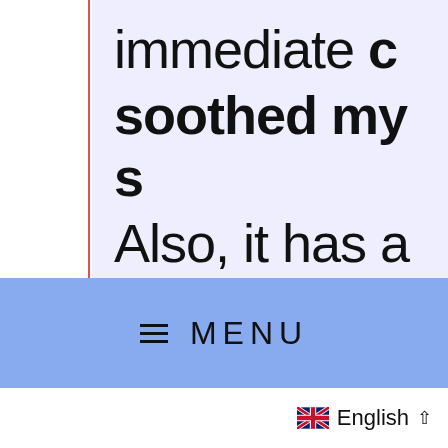immediate c soothed my s Also, it has a effect too!
≡ MENU
English